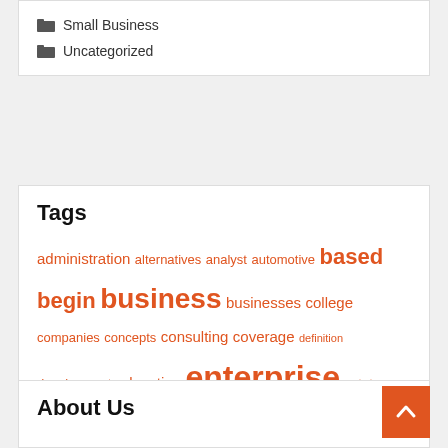Small Business
Uncategorized
Tags
administration alternatives analyst automotive based begin business businesses college companies concepts consulting coverage definition development education enterprise estate ethics fashion financial government growth health house ideas improvement information insurance intelligence international leisure loans management marketing online opportunities providers service services small start technology travel worldwide
About Us